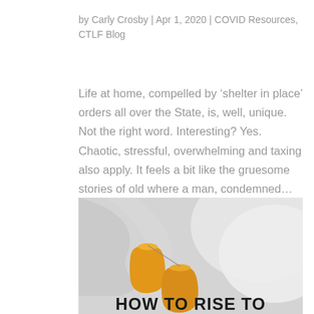by Carly Crosby | Apr 1, 2020 | COVID Resources, CTLF Blog
Life at home, compelled by ‘shelter in place’ orders all over the State, is, well, unique. Not the right word. Interesting? Yes. Chaotic, stressful, overwhelming and taxing also apply. It feels a bit like the gruesome stories of old where a man, condemned...
[Figure (photo): Photo of yellow cups/bells hanging against a blurred light background, with bold text overlay reading 'HOW TO RISE TO' at the bottom.]